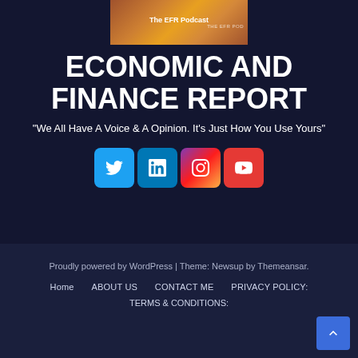[Figure (logo): The EFR Podcast logo with gradient brown/gold background and white text]
ECONOMIC AND FINANCE REPORT
"We All Have A Voice & A Opinion. It's Just How You Use Yours"
[Figure (infographic): Social media icons row: Twitter, LinkedIn, Instagram, YouTube]
Proudly powered by WordPress | Theme: Newsup by Themeansar.
Home   ABOUT US   CONTACT ME   PRIVACY POLICY:
TERMS & CONDITIONS: